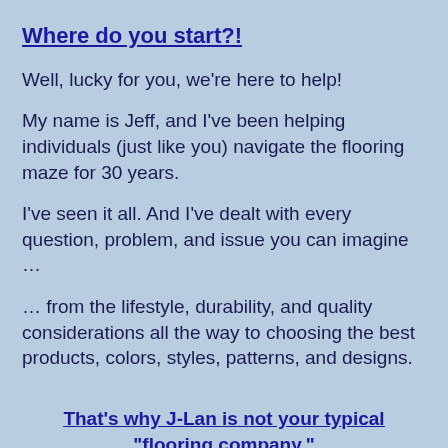Where do you start?!
Well, lucky for you, we're here to help!
My name is Jeff, and I've been helping individuals (just like you) navigate the flooring maze for 30 years.
I've seen it all. And I've dealt with every question, problem, and issue you can imagine …
… from the lifestyle, durability, and quality considerations all the way to choosing the best products, colors, styles, patterns, and designs.
That's why J-Lan is not your typical "flooring company."
Because, I am an expert and consultant, and I've made